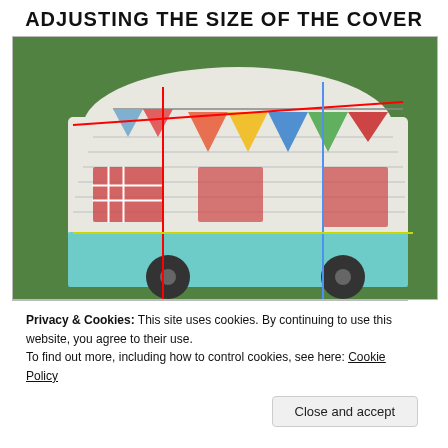ADJUSTING THE SIZE OF THE COVER
[Figure (photo): A quilted fabric caravan/camper cover on grass, with colored annotation lines (red, blue, yellow/green) overlaid to indicate measurement points for adjusting the cover size.]
Privacy & Cookies: This site uses cookies. By continuing to use this website, you agree to their use.
To find out more, including how to control cookies, see here: Cookie Policy
Close and accept